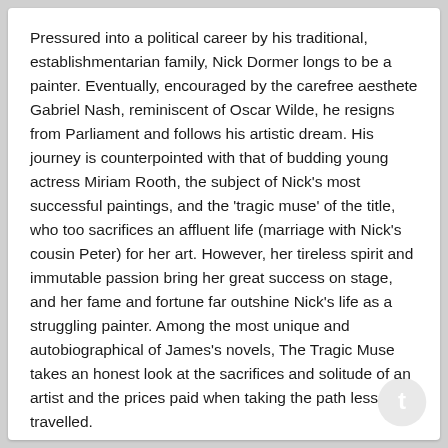Pressured into a political career by his traditional, establishmentarian family, Nick Dormer longs to be a painter. Eventually, encouraged by the carefree aesthete Gabriel Nash, reminiscent of Oscar Wilde, he resigns from Parliament and follows his artistic dream. His journey is counterpointed with that of budding young actress Miriam Rooth, the subject of Nick’s most successful paintings, and the ‘tragic muse’ of the title, who too sacrifices an affluent life (marriage with Nick’s cousin Peter) for her art. However, her tireless spirit and immutable passion bring her great success on stage, and her fame and fortune far outshine Nick’s life as a struggling painter. Among the most unique and autobiographical of James’s novels, The Tragic Muse takes an honest look at the sacrifices and solitude of an artist and the prices paid when taking the path less travelled.